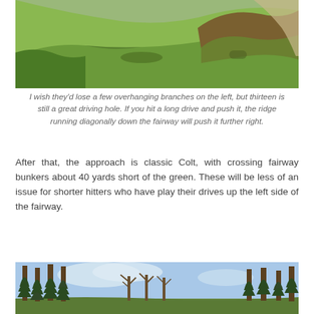[Figure (photo): Golf course fairway with rolling green hills, a diagonal ridge, rough scrubby grass areas, and a path visible in the upper right.]
I wish they'd lose a few overhanging branches on the left, but thirteen is still a great driving hole. If you hit a long drive and push it, the ridge running diagonally down the fairway will push it further right.
After that, the approach is classic Colt, with crossing fairway bunkers about 40 yards short of the green. These will be less of an issue for shorter hitters who have play their drives up the left side of the fairway.
[Figure (photo): Golf course with tall pine trees on the left, bare deciduous trees in the middle, more trees on the right, and a blue sky with light clouds above.]